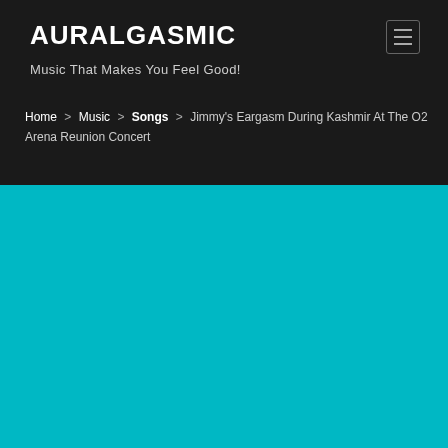AURALGASMIC
Music That Makes You Feel Good!
Home > Music > Songs > Jimmy's Eargasm During Kashmir At The O2 Arena Reunion Concert